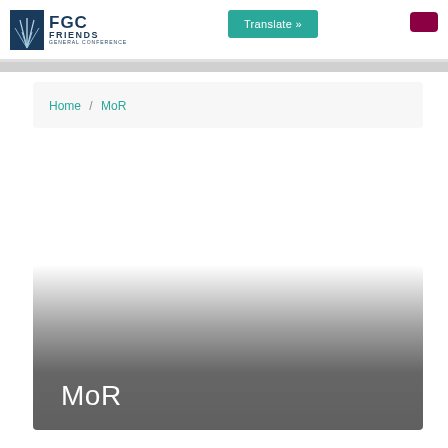[Figure (logo): FGC Friends General Conference logo with stylized plant/grass icon and text]
Translate »
Home / MoR
[Figure (photo): Hero banner image with gradient from white to dark gray, with 'MoR' title text overlay in white]